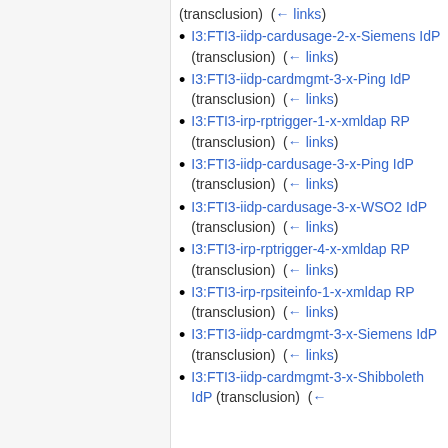(transclusion)  (← links)
I3:FTI3-iidp-cardusage-2-x-Siemens IdP (transclusion)  (← links)
I3:FTI3-iidp-cardmgmt-3-x-Ping IdP (transclusion)  (← links)
I3:FTI3-irp-rptrigger-1-x-xmldap RP (transclusion)  (← links)
I3:FTI3-iidp-cardusage-3-x-Ping IdP (transclusion)  (← links)
I3:FTI3-iidp-cardusage-3-x-WSO2 IdP (transclusion)  (← links)
I3:FTI3-irp-rptrigger-4-x-xmldap RP (transclusion)  (← links)
I3:FTI3-irp-rpsiteinfo-1-x-xmldap RP (transclusion)  (← links)
I3:FTI3-iidp-cardmgmt-3-x-Siemens IdP (transclusion)  (← links)
I3:FTI3-iidp-cardmgmt-3-x-Shibboleth IdP (transclusion)  (← links)